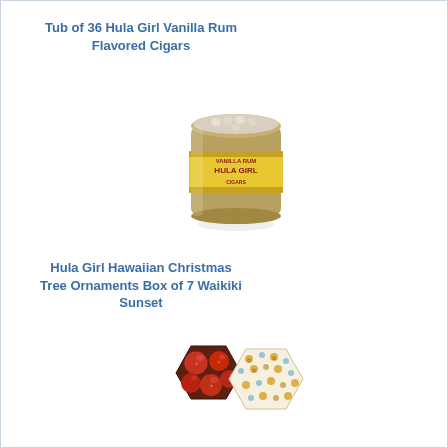Tub of 36 Hula Girl Vanilla Rum Flavored Cigars
[Figure (photo): A cylindrical tub container of Hula Girl Vanilla Rum flavored cigars, with cigars visible at the top and a yellow label with 'HULA GIRL' branding on the side.]
Hula Girl Hawaiian Christmas Tree Ornaments Box of 7 Waikiki Sunset
[Figure (photo): A hexagonal box containing red and gold Christmas tree ornaments (Waikiki Sunset), with the decorative patterned hexagonal box lid beside it.]